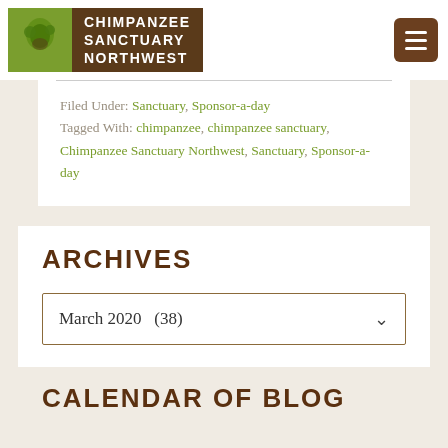CHIMPANZEE SANCTUARY NORTHWEST
Filed Under: Sanctuary, Sponsor-a-day
Tagged With: chimpanzee, chimpanzee sanctuary, Chimpanzee Sanctuary Northwest, Sanctuary, Sponsor-a-day
ARCHIVES
March 2020   (38)
CALENDAR OF BLOG